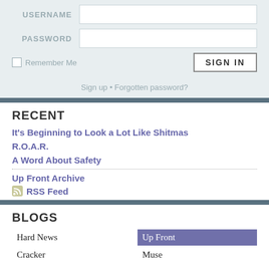USERNAME
PASSWORD
Remember Me
SIGN IN
Sign up • Forgotten password?
RECENT
It's Beginning to Look a Lot Like Shitmas
R.O.A.R.
A Word About Safety
Up Front Archive
RSS Feed
BLOGS
Hard News
Up Front
Cracker
Muse
Busytown
Radiation
Field Theory
Notes+Queries
OnPoint
Envirologue
Southerly
Polity